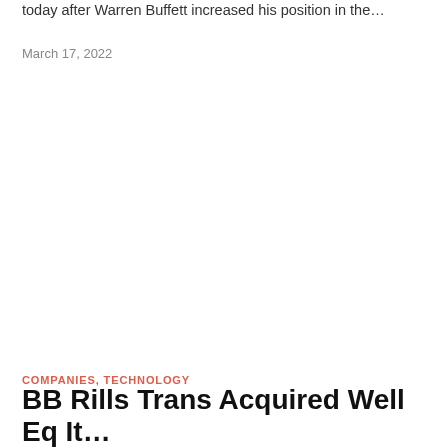today after Warren Buffett increased his position in the…
March 17, 2022
COMPANIES, TECHNOLOGY
BB Rills Trans Acquired Well Eq It...